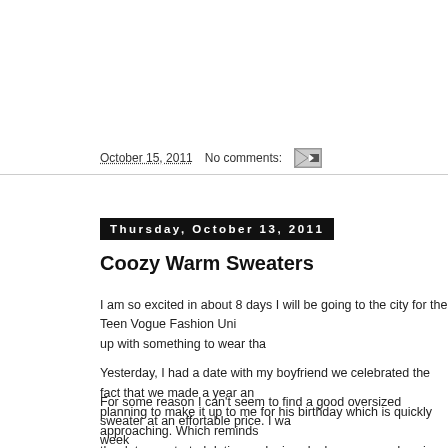October 15, 2011    No comments:
Thursday, October 13, 2011
Coozy Warm Sweaters
I am so excited in about 8 days I will be going to the city for the Teen Vogue Fashion Uni... up with something to wear tha... Yesterday, I had a date with my boyfriend we celebrated the fact that we made a year an... planning to make it up to me for his birthday which is quickly approaching. Which reminds... the date we started dating and a jewelry box engraved saying "M...
For some reason I can't seem to find a good oversized sweater at an effortable price. I wa... week...